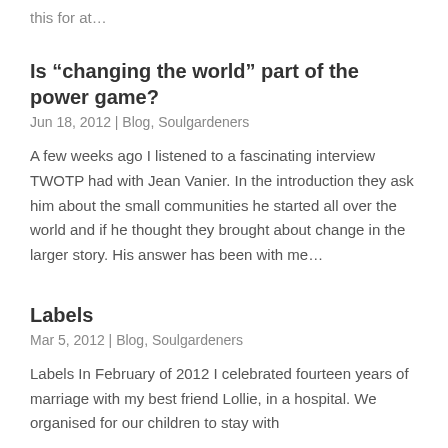this for at…
Is “changing the world” part of the power game?
Jun 18, 2012 | Blog, Soulgardeners
A few weeks ago I listened to a fascinating interview TWOTP had with Jean Vanier. In the introduction they ask him about the small communities he started all over the world and if he thought they brought about change in the larger story. His answer has been with me…
Labels
Mar 5, 2012 | Blog, Soulgardeners
Labels In February of 2012 I celebrated fourteen years of marriage with my best friend Lollie, in a hospital. We organised for our children to stay with